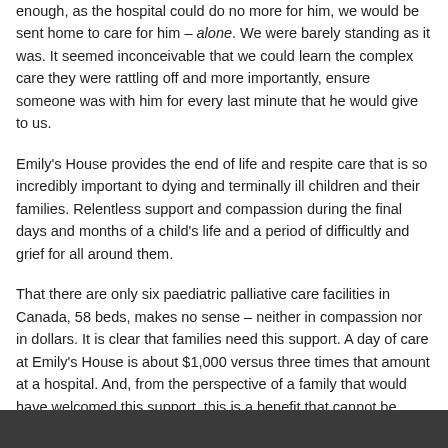enough, as the hospital could do no more for him, we would be sent home to care for him – alone. We were barely standing as it was. It seemed inconceivable that we could learn the complex care they were rattling off and more importantly, ensure someone was with him for every last minute that he would give to us.
Emily's House provides the end of life and respite care that is so incredibly important to dying and terminally ill children and their families. Relentless support and compassion during the final days and months of a child's life and a period of difficultly and grief for all around them.
That there are only six paediatric palliative care facilities in Canada, 58 beds, makes no sense – neither in compassion nor in dollars. It is clear that families need this support. A day of care at Emily's House is about $1,000 versus three times that amount at a hospital. And, from the perspective of a family that would have welcomed this support, this is a benefit that cannot be quantified."